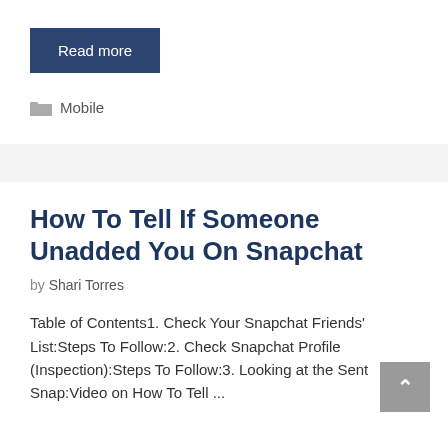Read more
Mobile
How To Tell If Someone Unadded You On Snapchat
by Shari Torres
Table of Contents1. Check Your Snapchat Friends' List:Steps To Follow:2. Check Snapchat Profile (Inspection):Steps To Follow:3. Looking at the Sent Snap:Video on How To Tell ...